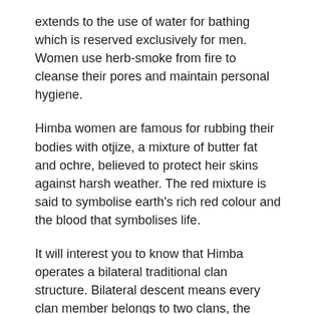extends to the use of water for bathing which is reserved exclusively for men. Women use herb-smoke from fire to cleanse their pores and maintain personal hygiene.
Himba women are famous for rubbing their bodies with otjize, a mixture of butter fat and ochre, believed to protect heir skins against harsh weather. The red mixture is said to symbolise earth's rich red colour and the blood that symbolises life.
It will interest you to know that Himba operates a bilateral traditional clan structure. Bilateral descent means every clan member belongs to two clans, the mother and the father. Inspired by this, the son lives with the father's clan and the wives. However, inheritance passes from the maternal uncle.
THen we have the unique hairstyles, which indicate age and